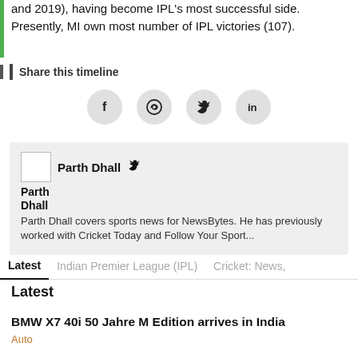and 2019), having become IPL's most successful side. Presently, MI own most number of IPL victories (107).
Share this timeline
[Figure (infographic): Four social media share icons in gray circles: Facebook (f), WhatsApp (circle with phone), Twitter (bird), LinkedIn (in)]
Parth Dhall covers sports news for NewsBytes. He has previously worked with Cricket Today and Follow Your Sport...
Latest
Latest
BMW X7 40i 50 Jahre M Edition arrives in India
Auto